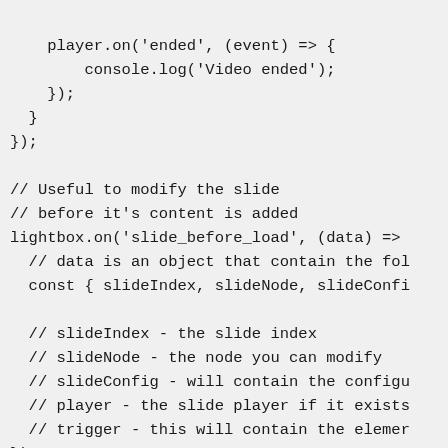player.on('ended', (event) => {
        console.log('Video ended');
    });
  }
});

// Useful to modify the slide
// before it's content is added
lightbox.on('slide_before_load', (data) =>
  // data is an object that contain the fo
  const { slideIndex, slideNode, slideConfi

  // slideIndex - the slide index
  // slideNode - the node you can modify
  // slideConfig - will contain the configu
  // player - the slide player if it exists
  // trigger - this will contain the elemer
});